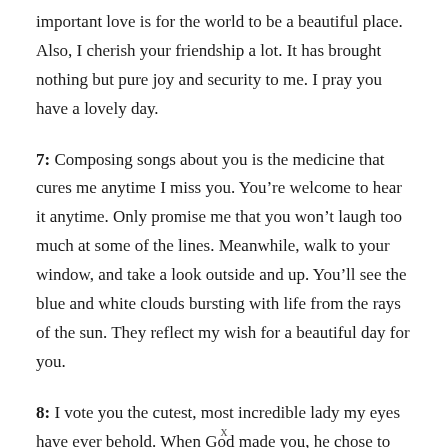important love is for the world to be a beautiful place. Also, I cherish your friendship a lot. It has brought nothing but pure joy and security to me. I pray you have a lovely day.
7: Composing songs about you is the medicine that cures me anytime I miss you. You’re welcome to hear it anytime. Only promise me that you won’t laugh too much at some of the lines. Meanwhile, walk to your window, and take a look outside and up. You’ll see the blue and white clouds bursting with life from the rays of the sun. They reflect my wish for a beautiful day for you.
8: I vote you the cutest, most incredible lady my eyes have ever behold. When God made you, he chose to add more to you of the
x